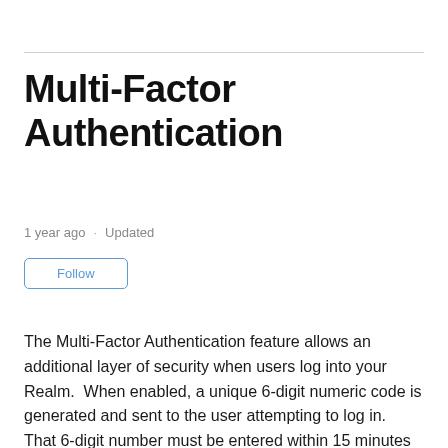Multi-Factor Authentication
1 year ago · Updated
Follow
The Multi-Factor Authentication feature allows an additional layer of security when users log into your Realm.  When enabled, a unique 6-digit numeric code is generated and sent to the user attempting to log in.  That 6-digit number must be entered within 15 minutes in order to gain access to the account.